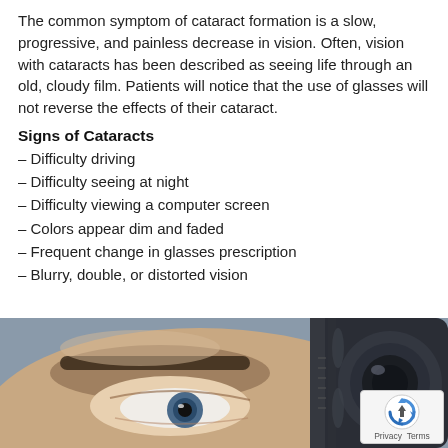The common symptom of cataract formation is a slow, progressive, and painless decrease in vision. Often, vision with cataracts has been described as seeing life through an old, cloudy film. Patients will notice that the use of glasses will not reverse the effects of their cataract.
Signs of Cataracts
– Difficulty driving
– Difficulty seeing at night
– Difficulty viewing a computer screen
– Colors appear dim and faded
– Frequent change in glasses prescription
– Blurry, double, or distorted vision
[Figure (photo): Close-up photo of a person's eye with an ophthalmic instrument/lens in the foreground, suggestive of an eye examination.]